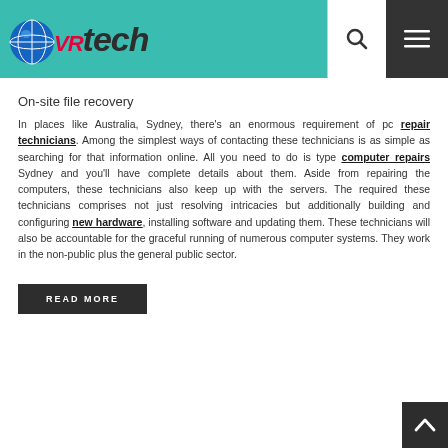VRtech
On-site file recovery
In places like Australia, Sydney, there's an enormous requirement of pc repair technicians. Among the simplest ways of contacting these technicians is as simple as searching for that information online. All you need to do is type computer repairs Sydney and you'll have complete details about them. Aside from repairing the computers, these technicians also keep up with the servers. The required these technicians comprises not just resolving intricacies but additionally building and configuring new hardware, installing software and updating them. These technicians will also be accountable for the graceful running of numerous computer systems. They work in the non-public plus the general public sector.
READ MORE